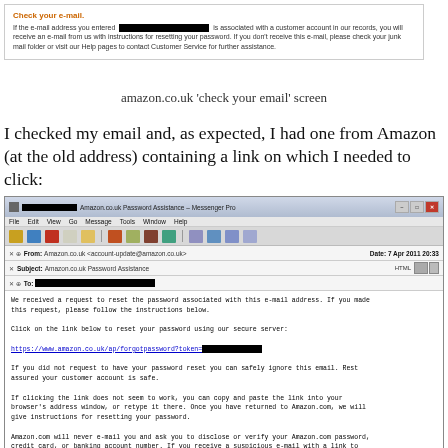[Figure (screenshot): Amazon.co.uk 'Check your e-mail.' confirmation screen with redacted email address]
amazon.co.uk 'check your email' screen
I checked my email and, as expected, I had one from Amazon (at the old address) containing a link on which I needed to click:
[Figure (screenshot): Email client (Messenger Pro) screenshot showing Amazon.co.uk Password Assistance email. From: Amazon.co.uk <account-update@amazon.co.uk>, Date: 7 Apr 2011 20:33, Subject: Amazon.co.uk Password Assistance, To: [redacted]. Body contains password reset link https://www.amazon.co.uk/ap/forgotpassword?token=[redacted] and standard password reset email text.]